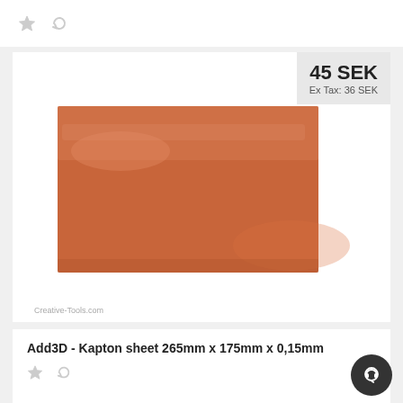[Figure (other): Star icon and refresh icon, top bar]
[Figure (photo): Orange/amber Kapton sheet on white background with reflective surface, product photo for Add3D Kapton sheet 265mm x 175mm x 0,15mm]
45 SEK
Ex Tax: 36 SEK
Creative-Tools.com
Add3D - Kapton sheet 265mm x 175mm x 0,15mm
[Figure (other): Star icon and refresh icon, bottom bar]
[Figure (other): Dark circular chat/support button with headset icon, bottom right]